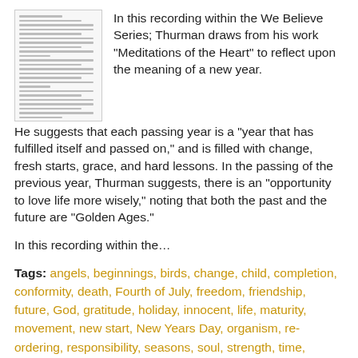[Figure (photo): Thumbnail image of a text document page]
In this recording within the We Believe Series; Thurman draws from his work "Meditations of the Heart" to reflect upon the meaning of a new year. He suggests that each passing year is a "year that has fulfilled itself and passed on," and is filled with change, fresh starts, grace, and hard lessons. In the passing of the previous year, Thurman suggests, there is an "opportunity to love life more wisely," noting that both the past and the future are "Golden Ages."
In this recording within the…
Tags: angels, beginnings, birds, change, child, completion, conformity, death, Fourth of July, freedom, friendship, future, God, gratitude, holiday, innocent, life, maturity, movement, new start, New Years Day, organism, re-ordering, responsibility, seasons, soul, strength, time, tomorrow